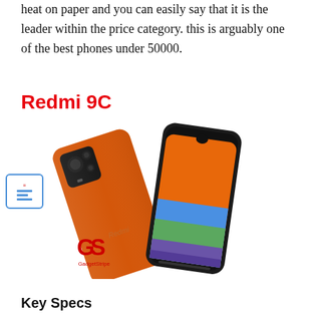heat on paper and you can easily say that it is the leader within the price category. this is arguably one of the best phones under 50000.
Redmi 9C
[Figure (photo): Photo of Redmi 9C smartphone in orange color, showing both the back and front of the device. The back shows a triple camera module. The front shows an orange/colorful display with a waterdrop notch. A GadgetStripe logo is visible in the bottom left of the image.]
Key Specs